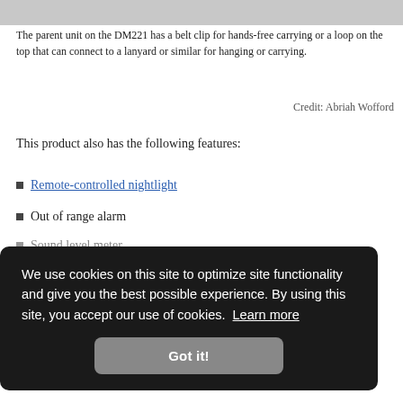[Figure (photo): Partial photo of a baby monitor parent unit, showing a light-colored device against a white background.]
The parent unit on the DM221 has a belt clip for hands-free carrying or a loop on the top that can connect to a lanyard or similar for hanging or carrying.
Credit: Abriah Wofford
This product also has the following features:
Remote-controlled nightlight
Out of range alarm
Sound level meter
We use cookies on this site to optimize site functionality and give you the best possible experience. By using this site, you accept our use of cookies.  Learn more
Got it!